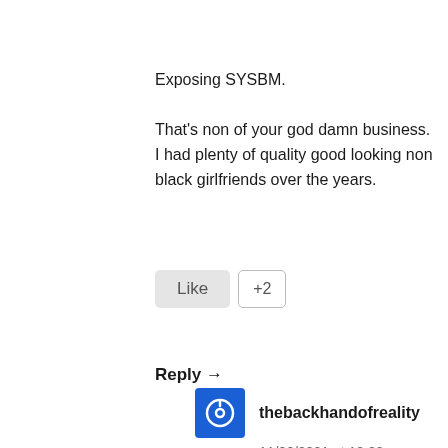Exposing SYSBM.
That's non of your god damn business. I had plenty of quality good looking non black girlfriends over the years.
Like  +2
Reply →
[Figure (other): Listen Now button with play icon and blue border]
thebackhandofreality
11/06/2021 at 12:22
> I had plenty of quality good looking non black girlfriends over the years.
Come here. And I've been happily...